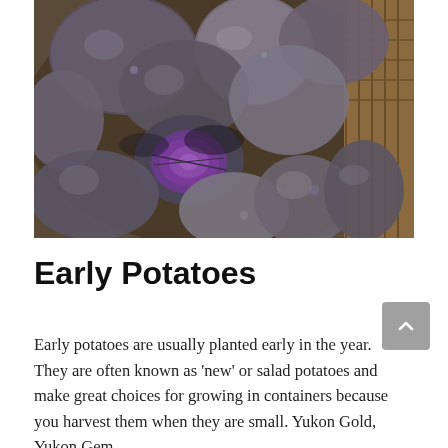[Figure (photo): Close-up photograph of dark-skinned potatoes piled in a basket, with one potato sliced open revealing a vibrant purple interior flesh.]
Early Potatoes
Early potatoes are usually planted early in the year. They are often known as 'new' or salad potatoes and make great choices for growing in containers because you harvest them when they are small. Yukon Gold, Yukon Gem,